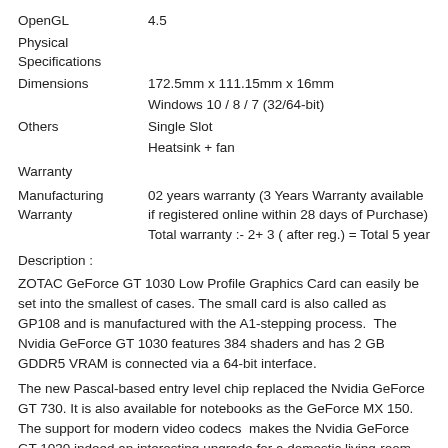| OpenGL | 4.5 |
| Physical Specifications |  |
| Dimensions | 172.5mm x 111.15mm x 16mm |
|  | Windows 10 / 8 / 7 (32/64-bit) |
| Others | Single Slot |
|  | Heatsink + fan |
| Warranty |  |
| Manufacturing Warranty | 02 years warranty (3 Years Warranty available if registered online within 28 days of Purchase)
Total warranty :- 2+ 3 ( after reg.) = Total 5 year |
Description :
ZOTAC GeForce GT 1030 Low Profile Graphics Card can easily be set into the smallest of cases. The small card is also called as GP108 and is manufactured with the A1-stepping process.  The Nvidia GeForce GT 1030 features 384 shaders and has 2 GB GDDR5 VRAM is connected via a 64-bit interface.
The new Pascal-based entry level chip replaced the Nvidia GeForce GT 730. It is also available for notebooks as the GeForce MX 150. The support for modern video codecs  makes the Nvidia GeForce GT 1030 indeed an interesting upgrade for a domestic living-room PC. This is particularly attractive if the PC is not yet